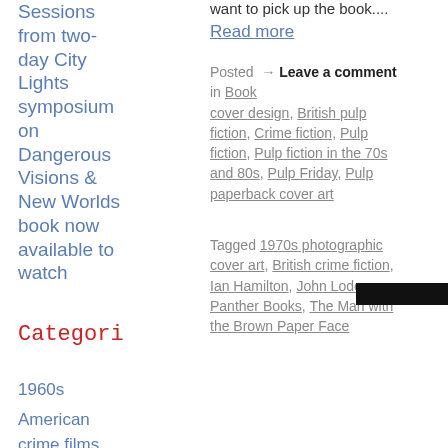Sessions from two-day City Lights symposium on Dangerous Visions & New Worlds book now available to watch
want to pick up the book....
Read more
Posted → Leave a comment in Book cover design, British pulp fiction, Crime fiction, Pulp fiction, Pulp fiction in the 70s and 80s, Pulp Friday, Pulp paperback cover art
Tagged 1970s photographic cover art, British crime fiction, Ian Hamilton, John Loder, Panther Books, The Man with the Brown Paper Face
Categori
1960s
American crime films